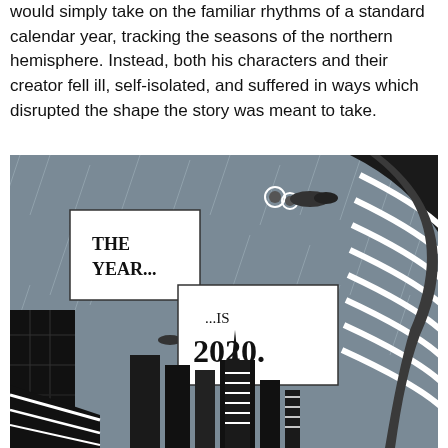would simply take on the familiar rhythms of a standard calendar year, tracking the seasons of the northern hemisphere. Instead, both his characters and their creator fell ill, self-isolated, and suffered in ways which disrupted the shape the story was meant to take.
[Figure (illustration): Comic book panel showing a futuristic cityscape in grey tones with rain streaks. Flying vehicles are visible in the sky. Two speech/caption boxes read 'THE YEAR...' and '...IS 2020.' in bold comic-style lettering. Dark silhouetted skyscrapers and a large curved building dominate the lower portion.]